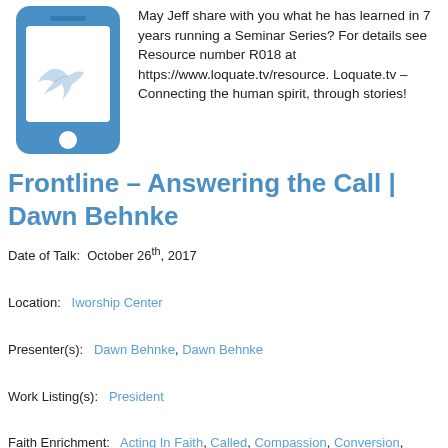[Figure (illustration): Blue smartphone icon with a white dove/bird on the screen]
May Jeff share with you what he has learned in 7 years running a Seminar Series? For details see Resource number R018 at https://www.loquate.tv/resource. Loquate.tv – Connecting the human spirit, through stories!
Frontline – Answering the Call | Dawn Behnke
Date of Talk:  October 26th, 2017
Location:   Iworship Center
Presenter(s):   Dawn Behnke, Dawn Behnke
Work Listing(s):   President
Faith Enrichment:  Acting In Faith, Called, Compassion, Conversion, Cross, Devotion, Drawn by God, End of Life, Ethics, Experience of God, Family Values, Listening, Obedience, Passion for God, Peace, Peer Influence, Peer Pressure, Prayer, Pro Life, Providential, Role Model, Survival, Unity